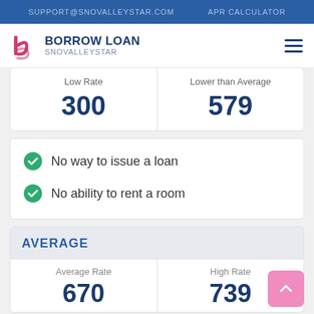SUPPORT@SNOVALLEYSTAR.COM    APR CALCULATOR
[Figure (logo): Borrow Loan Snovalleystar logo with stylized 'b' mark in pink/red and dark blue text]
| Low Rate | Lower than Average |
| --- | --- |
| 300 | 579 |
No way to issue a loan
No ability to rent a room
AVERAGE
| Average Rate | High Rate |
| --- | --- |
| 670 | 739 |